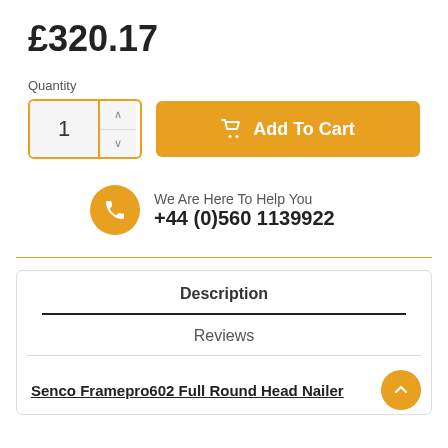£320.17
Quantity
[Figure (screenshot): Quantity selector with number 1 and up/down arrows, plus orange Add To Cart button with cart icon]
We Are Here To Help You
+44 (0)560 1139922
Description
Reviews
Senco Framepro602 Full Round Head Nailer